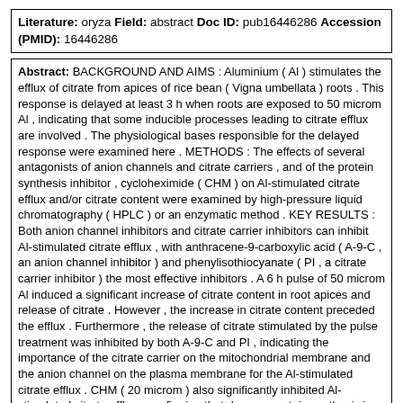Literature: oryza Field: abstract Doc ID: pub16446286 Accession (PMID): 16446286
Abstract: BACKGROUND AND AIMS : Aluminium ( Al ) stimulates the efflux of citrate from apices of rice bean ( Vigna umbellata ) roots . This response is delayed at least 3 h when roots are exposed to 50 microm Al , indicating that some inducible processes leading to citrate efflux are involved . The physiological bases responsible for the delayed response were examined here . METHODS : The effects of several antagonists of anion channels and citrate carriers , and of the protein synthesis inhibitor , cycloheximide ( CHM ) on Al-stimulated citrate efflux and/or citrate content were examined by high-pressure liquid chromatography ( HPLC ) or an enzymatic method . KEY RESULTS : Both anion channel inhibitors and citrate carrier inhibitors can inhibit Al-stimulated citrate efflux , with anthracene-9-carboxylic acid ( A-9-C , an anion channel inhibitor ) and phenylisothiocyanate ( PI , a citrate carrier inhibitor ) the most effective inhibitors . A 6 h pulse of 50 microm Al induced a significant increase of citrate content in root apices and release of citrate . However , the increase in citrate content preceded the efflux . Furthermore , the release of citrate stimulated by the pulse treatment was inhibited by both A-9-C and PI , indicating the importance of the citrate carrier on the mitochondrial membrane and the anion channel on the plasma membrane for the Al-stimulated citrate efflux . CHM ( 20 microm ) also significantly inhibited Al-stimulated citrate efflux , confirming that de novo protein synthesis is required for Al-stimulated citrate efflux . CONCLUSIONS : These results indicate that the activation of genes possibly encoding citrate transporters plays a critical role in Al-stimulated citrate efflux .
Matching Sentences: [ Sen. 4, subscore: 2.00 ]: METHODS : The effects of several